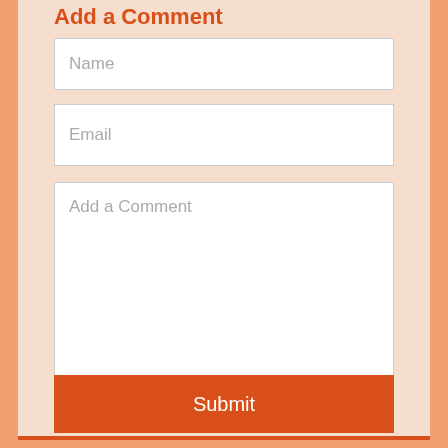Add a Comment
Name
Email
Add a Comment
Comment will be moderated and published within 1-2 hours
Submit